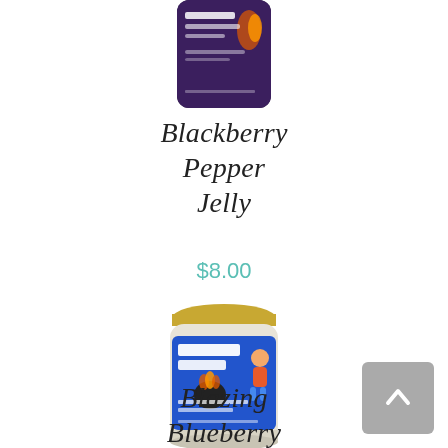[Figure (photo): Top portion of a Wisham Jellies jar with dark purple label, partially cropped at the top of the page]
Blackberry Pepper Jelly
$8.00
[Figure (photo): Full jar of Wisham Jellies with blue label reading 'Blazing Blueberry Pepper Jelly', gold lid, cartoon man with beard on label]
Blazing Blueberry